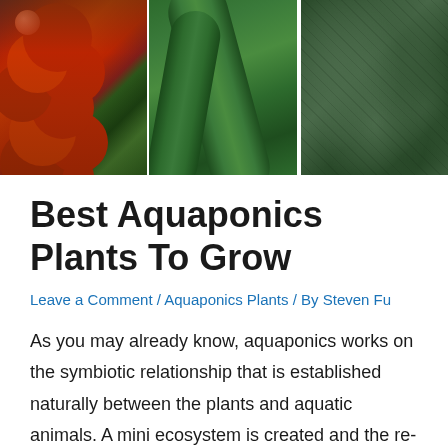[Figure (photo): Three side-by-side photos: cherry tomatoes on vine (left), cucumbers (center), and leafy green vegetables (right)]
Best Aquaponics Plants To Grow
Leave a Comment / Aquaponics Plants / By Steven Fu
As you may already know, aquaponics works on the symbiotic relationship that is established naturally between the plants and aquatic animals. A mini ecosystem is created and the re-cycling of wastes as fertilizers for the plants occurs. In essence it really combines hydroponics technology with